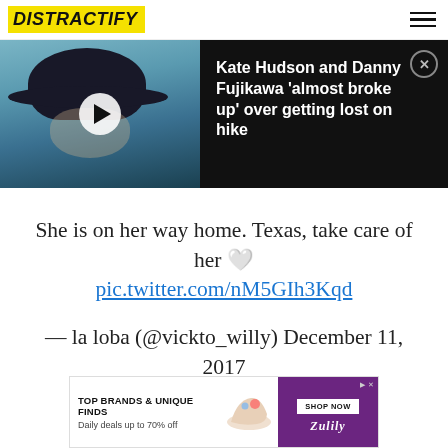DISTRACTIFY
[Figure (screenshot): Video thumbnail of a woman wearing a large black hat, overlaid with a play button, next to a dark panel with article headline.]
Kate Hudson and Danny Fujikawa 'almost broke up' over getting lost on hike
She is on her way home. Texas, take care of her 🤍 pic.twitter.com/nM5GIh3Kqd

— la loba (@vickto_willy) December 11, 2017
[Figure (screenshot): Advertisement banner: TOP BRANDS & UNIQUE FINDS. Daily deals up to 70% off. Shop Now. Zulily.]